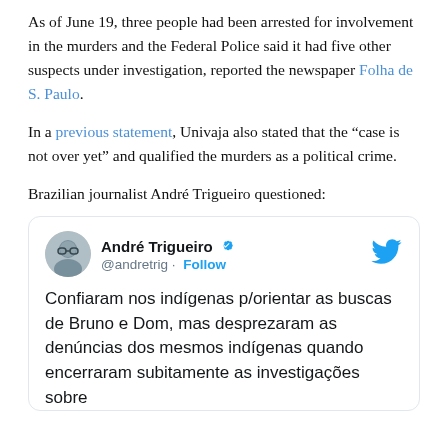As of June 19, three people had been arrested for involvement in the murders and the Federal Police said it had five other suspects under investigation, reported the newspaper Folha de S. Paulo.
In a previous statement, Univaja also stated that the “case is not over yet” and qualified the murders as a political crime.
Brazilian journalist André Trigueiro questioned:
[Figure (screenshot): Tweet by André Trigueiro (@andretrig) with verified badge and Follow button. Tweet text: Confiaram nos indígenas p/orientar as buscas de Bruno e Dom, mas desprezaram as denúncias dos mesmos indígenas quando encerraram subitamente as investigações sobre]